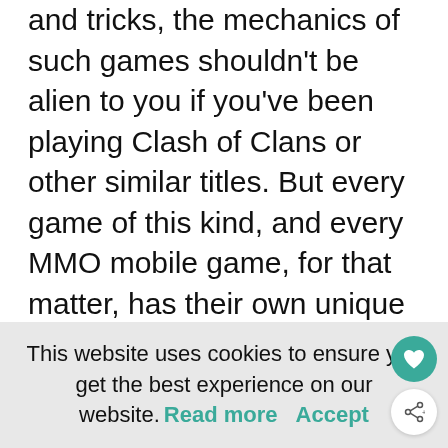and tricks, the mechanics of such games shouldn't be alien to you if you've been playing Clash of Clans or other similar titles. But every game of this kind, and every MMO mobile game, for that matter, has their own unique features and special mechanics that set them apart. So if you're new to the game, new to MMO gaming, or an experienced player looking for an additional edge, we recommend you read on and check our Tropical Wars strategy guide below.
This website uses cookies to ensure you get the best experience on our website. Read more   Accept